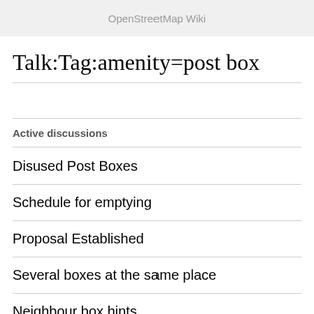OpenStreetMap Wiki
Talk:Tag:amenity=post box
Active discussions
Disused Post Boxes
Schedule for emptying
Proposal Established
Several boxes at the same place
Neighbour box hints